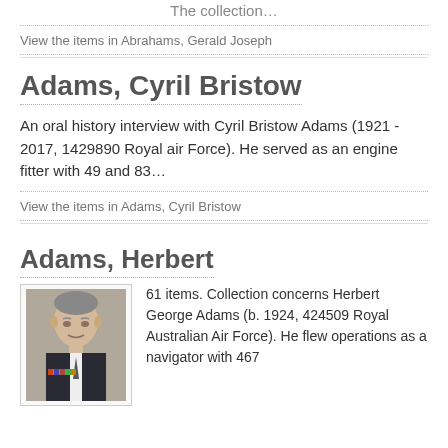The collection…
View the items in Abrahams, Gerald Joseph
Adams, Cyril Bristow
An oral history interview with Cyril Bristow Adams (1921 - 2017, 1429890 Royal air Force). He served as an engine fitter with 49 and 83…
View the items in Adams, Cyril Bristow
Adams, Herbert
[Figure (photo): Portrait photograph of an elderly man wearing a suit with military medals]
61 items. Collection concerns Herbert George Adams (b. 1924, 424509 Royal Australian Air Force). He flew operations as a navigator with 467